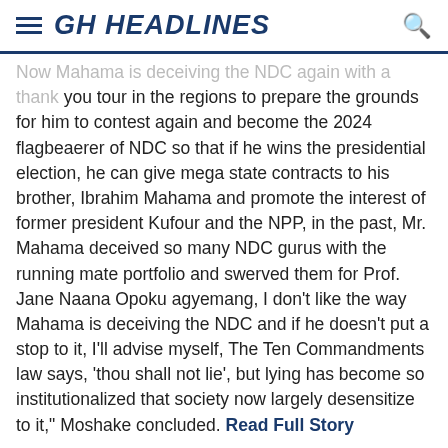GH HEADLINES
Now Mahama is deceiving the NDC again with a thank you tour in the regions to prepare the grounds for him to contest again and become the 2024 flagbeaerer of NDC so that if he wins the presidential election, he can give mega state contracts to his brother, Ibrahim Mahama and promote the interest of former president Kufour and the NPP, in the past, Mr. Mahama deceived so many NDC gurus with the running mate portfolio and swerved them for Prof. Jane Naana Opoku agyemang, I don't like the way Mahama is deceiving the NDC and if he doesn't put a stop to it, I'll advise myself, The Ten Commandments law says, 'thou shall not lie', but lying has become so institutionalized that society now largely desensitize to it," Moshake concluded. Read Full Story